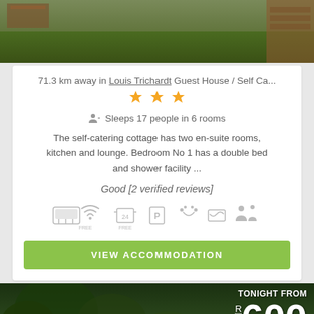[Figure (photo): Top photo showing garden/grass area with wooden structure and brick wall in background]
71.3 km away in Louis Trichardt Guest House / Self Ca...
[Figure (other): Three orange/gold star rating icons]
Sleeps 17 people in 6 rooms
The self-catering cottage has two en-suite rooms, kitchen and lounge. Bedroom No 1 has a double bed and shower facility ...
Good [2 verified reviews]
[Figure (infographic): Amenity icons: air conditioning, free wifi, reception/24h, parking free, pets allowed, swimming pool, family/group]
VIEW ACCOMMODATION
[Figure (photo): Bottom photo showing trees and building with tonight from R600 price badge]